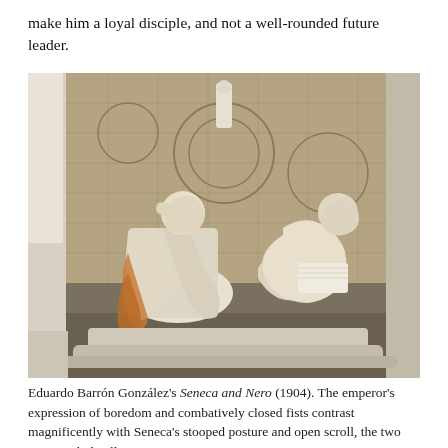make him a loyal disciple, and not a well-rounded future leader.
[Figure (photo): A photograph of Eduardo Barrón González's marble sculpture 'Seneca and Nero' (1904), displayed in a museum. The sculpture shows two Roman-robed figures: a seated Nero with his hand on his brow in a bored expression, and Seneca stooped beside him holding an open scroll. A decorated mosaic wall is visible in the background.]
Eduardo Barrón González's Seneca and Nero (1904). The emperor's expression of boredom and combatively closed fists contrast magnificently with Seneca's stooped posture and open scroll, the two men symbolically